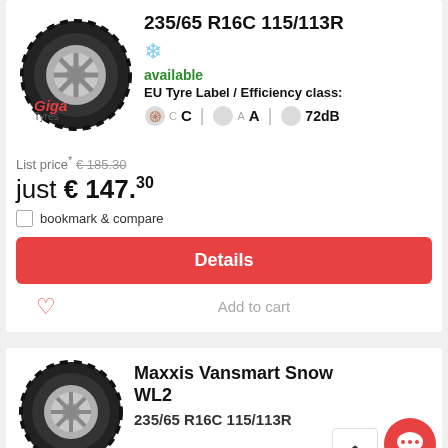[Figure (photo): Tire product image with Giga Tyres watermark]
235/65 R16C 115/113R
available
EU Tyre Label / Efficiency class:
C  A  72dB
List price* € 185.30
just € 147.30
bookmark & compare
Details
Add to cart
[Figure (photo): Second tire product image - Maxxis Vansmart Snow WL2]
Maxxis Vansmart Snow WL2
235/65 R16C 115/113R